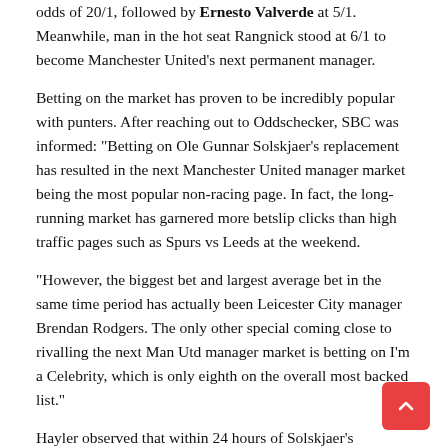odds of 20/1, followed by Ernesto Valverde at 5/1. Meanwhile, man in the hot seat Rangnick stood at 6/1 to become Manchester United's next permanent manager.
Betting on the market has proven to be incredibly popular with punters. After reaching out to Oddschecker, SBC was informed: "Betting on Ole Gunnar Solskjaer's replacement has resulted in the next Manchester United manager market being the most popular non-racing page. In fact, the long-running market has garnered more betslip clicks than high traffic pages such as Spurs vs Leeds at the weekend.
"However, the biggest bet and largest average bet in the same time period has actually been Leicester City manager Brendan Rodgers. The only other special coming close to rivalling the next Man Utd manager market is betting on I'm a Celebrity, which is only eighth on the overall most backed list."
Hayler observed that within 24 hours of Solskjaer's dismissal, UK audiences were being hit with graphics on sports networks depicting the odds of his potential successors, and referred to the potential